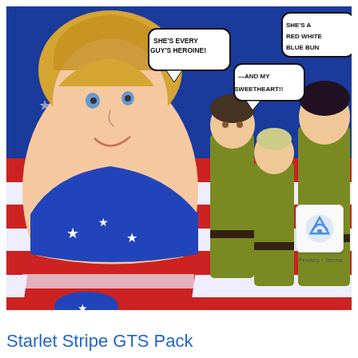[Figure (illustration): Comic-style illustration showing a large blonde female character in an American flag-themed costume in the foreground, with three military-uniformed figures in the background. American flag background with stars and stripes. Speech bubbles read: 'SHE'S EVERY GUY'S HEROINE!', '—AND MY SWEETHEART!!', 'SHE'S A RED WHITE BLUE BUN']
Starlet Stripe GTS Pack